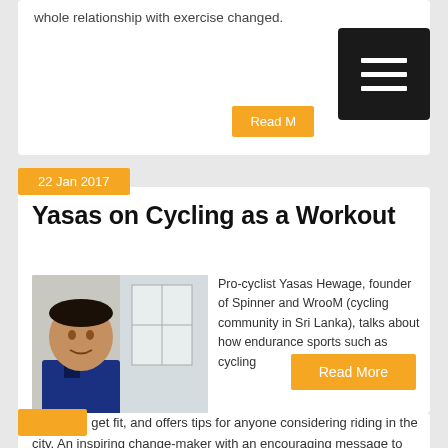whole relationship with exercise changed.
Read More
22 Jan 2017
Yasas on Cycling as a Workout
[Figure (photo): Portrait photo of Yasas Hewage, pro-cyclist, shown from chest up]
Pro-cyclist Yasas Hewage, founder of Spinner and WrooM (cycling community in Sri Lanka), talks about how endurance sports such as cycling helps you get fit, and offers tips for anyone considering riding in the city. An inspiring change-maker with an encouraging message to those who want to make fitness a lifetime hobby. More on Spinner
Read More